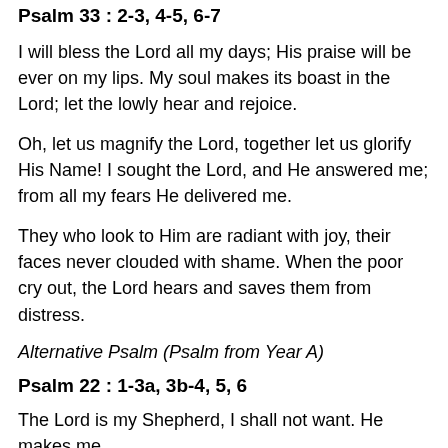Psalm 33 : 2-3, 4-5, 6-7
I will bless the Lord all my days; His praise will be ever on my lips. My soul makes its boast in the Lord; let the lowly hear and rejoice.
Oh, let us magnify the Lord, together let us glorify His Name! I sought the Lord, and He answered me; from all my fears He delivered me.
They who look to Him are radiant with joy, their faces never clouded with shame. When the poor cry out, the Lord hears and saves them from distress.
Alternative Psalm (Psalm from Year A)
Psalm 22 : 1-3a, 3b-4, 5, 6
The Lord is my Shepherd, I shall not want. He makes me